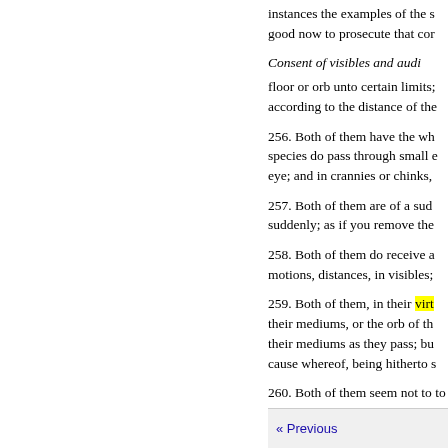instances the examples of the s good now to prosecute that cor
Consent of visibles and audi
floor or orb unto certain limits; according to the distance of the
256. Both of them have the wh species do pass through small e eye; and in crannies or chinks,
257. Both of them are of a sud suddenly; as if you remove the
258. Both of them do receive a motions, distances, in visibles;
259. Both of them, in their virt their mediums, or the orb of th their mediums as they pass; bu cause whereof, being hitherto s
260. Both of them seem not to to their proper objects and sens
« Previous